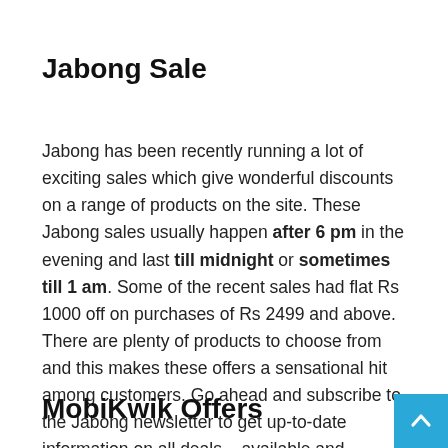Jabong Sale
Jabong has been recently running a lot of exciting sales which give wonderful discounts on a range of products on the site. These Jabong sales usually happen after 6 pm in the evening and last till midnight or sometimes till 1 am. Some of the recent sales had flat Rs 1000 off on purchases of Rs 2499 and above. There are plenty of products to choose from and this makes these offers a sensational hit among customers. Go ahead and subscribe to the Jabong newsletter to get up-to-date information on all deals – available and upcoming!
MobiKwik Offers